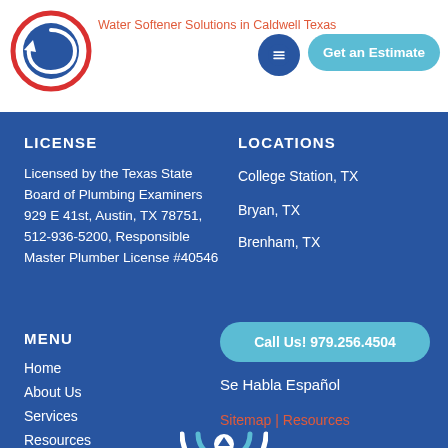Water Softener Solutions in Caldwell Texas
[Figure (logo): Circular logo with arrow/swirl icon, red border]
Get an Estimate
LICENSE
Licensed by the Texas State Board of Plumbing Examiners
929 E 41st, Austin, TX 78751, 512-936-5200, Responsible Master Plumber License #40546
LOCATIONS
College Station, TX
Bryan, TX
Brenham, TX
MENU
Home
About Us
Services
Resources
979.256.4504
Call Us! 979.256.4504
Se Habla Español
Sitemap | Resources
[Figure (logo): Circular logo with arrow/swirl icon, white/blue at bottom]